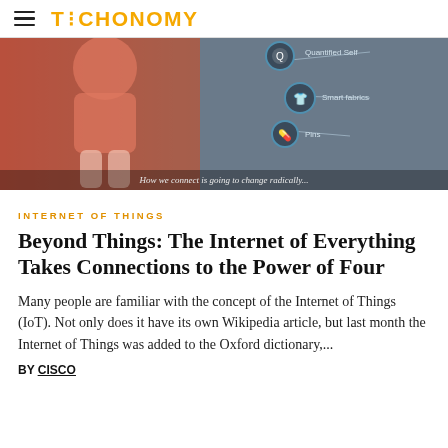TECHONOMY
[Figure (photo): A woman in a red top and light pink shorts, with an overlay infographic showing IoT wearables including Smart fabrics, Pins, and Quantified Self. Caption at bottom: 'How we connect is going to change radically...']
INTERNET OF THINGS
Beyond Things: The Internet of Everything Takes Connections to the Power of Four
Many people are familiar with the concept of the Internet of Things (IoT). Not only does it have its own Wikipedia article, but last month the Internet of Things was added to the Oxford dictionary,...
BY CISCO